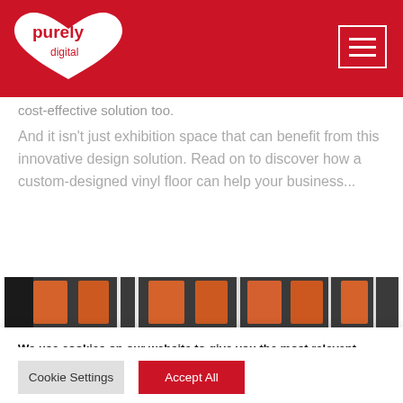[Figure (logo): Purely Digital logo — white heart shape with 'purely digital' text, on red background]
cost-effective solution too.
And it isn't just exhibition space that can benefit from this innovative design solution. Read on to discover how a custom-designed vinyl floor can help your business...
[Figure (photo): Partial photo showing orange and black objects, likely a vinyl floor or exhibition display]
We use cookies on our website to give you the most relevant experience by remembering your preferences and repeat visits. By clicking "Accept All", you consent to the use of ALL the cookies. However, you may visit "Cookie Settings" to provide a controlled consent.